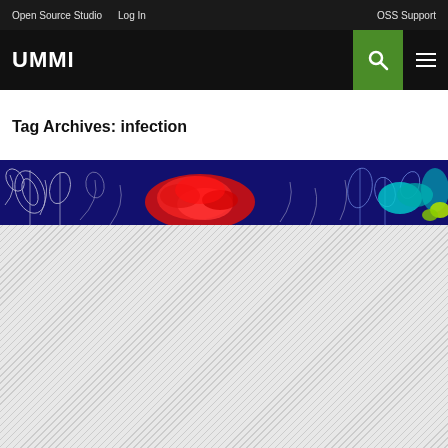Open Source Studio   Log In   OSS Support
UMMI
Tag Archives: infection
[Figure (illustration): Dark navy blue background with white floral/botanical line art outlines and colorful (red, cyan, yellow-green) abstract organic shapes in the center and right side.]
[Figure (other): Light gray area with repeating diagonal stripe pattern (hatching), filling the lower portion of the page.]